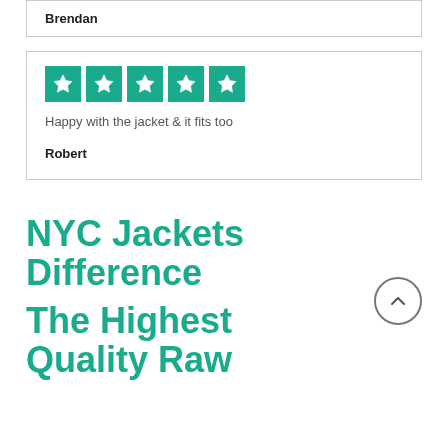Brendan
[Figure (other): Five green star rating icons in a row]
Happy with the jacket & it fits too
Robert
NYC Jackets Difference
The Highest Quality Raw